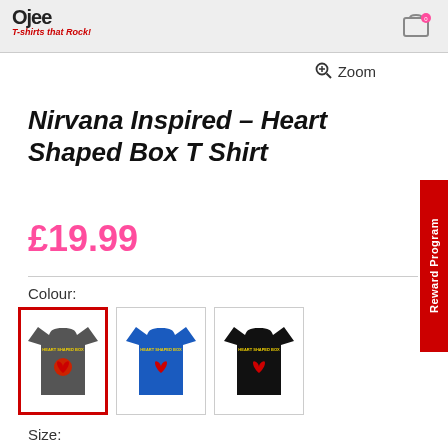Ojee T-shirts that Rock!
Zoom
Nirvana Inspired – Heart Shaped Box T Shirt
£19.99
Colour:
[Figure (photo): Three t-shirt color variants: dark grey (selected, red border), royal blue, and black — each with Heart Shaped Box graphic]
Size: